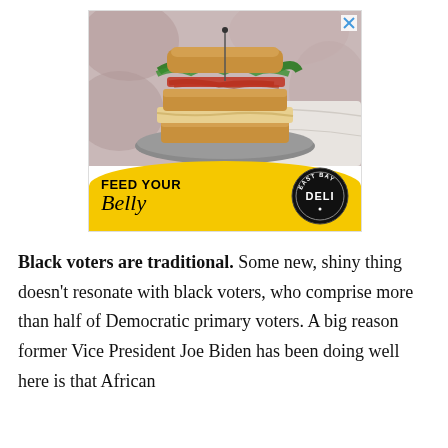[Figure (photo): Advertisement for East Bay Deli showing a tall stacked sandwich (club/BLT style with lettuce, tomato, bacon on toasted bread) on a plate. Below the photo is a yellow banner with arched/curved top reading 'FEED YOUR Belly' in bold and script text, with the East Bay Deli circular logo on the right. An X close button is in the top-right corner of the ad.]
Black voters are traditional. Some new, shiny thing doesn't resonate with black voters, who comprise more than half of Democratic primary voters. A big reason former Vice President Joe Biden has been doing well here is that African